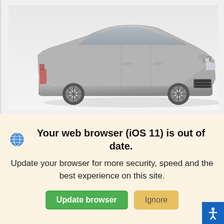[Figure (photo): Silver 2022 Honda Civic sedan, 3/4 front view on white/light gray background]
New 2022 Honda Civic FWD
Sport Sedan 4dr Car CVT w/OD
MSRP
$25,045
Your web browser (iOS 11) is out of date. Update your browser for more security, speed and the best experience on this site.
Update browser
Ignore